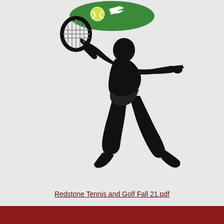[Figure (illustration): Green oval logo at top with a tennis ball and bird/feather graphic, followed by a black silhouette of a tennis player in a dynamic serving or hitting pose with racket raised]
Redstone Tennis and Golf Fall 21.pdf